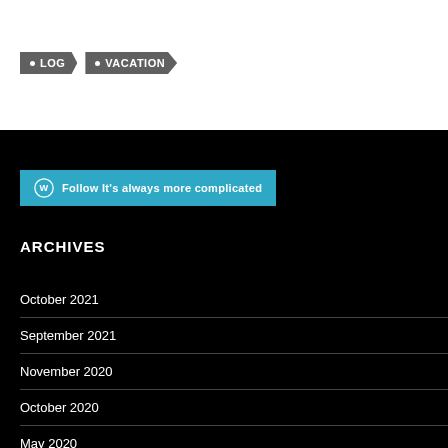• LOG
• VACATION
Follow It's always more complicated
ARCHIVES
October 2021
September 2021
November 2020
October 2020
May 2020